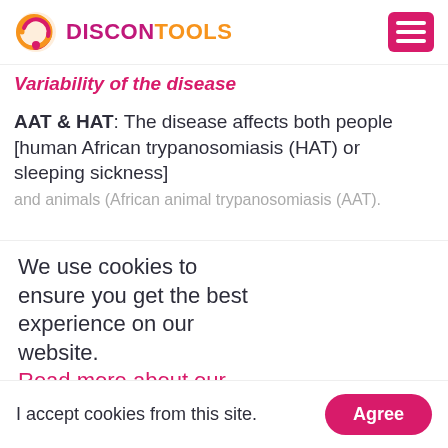DISCONTOOLS
Variability of the disease
AAT & HAT: The disease affects both people [human African trypanosomiasis (HAT) or sleeping sickness] and animals (African animal trypanosomiasis (AAT).
We use cookies to ensure you get the best experience on our website.
Read more about our policy privacy
I accept cookies from this site.
Agree